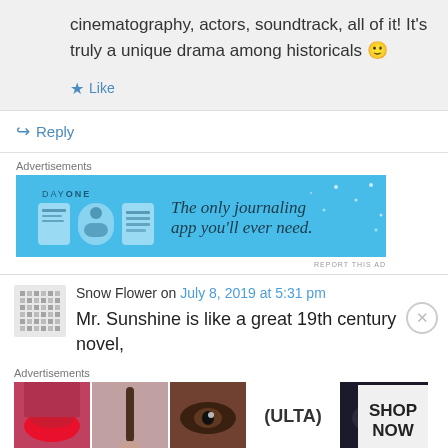cinematography, actors, soundtrack, all of it! It's truly a unique drama among historicals 🙂
★ Like
↪ Reply
Advertisements
[Figure (screenshot): Day One journaling app advertisement banner — blue background with app icons and text 'The only journaling app you'll ever need.']
Snow Flower on July 8, 2019 at 5:31 pm
Mr. Sunshine is like a great 19th century novel,
Advertisements
[Figure (screenshot): Ulta Beauty advertisement banner with makeup/cosmetics imagery and 'SHOP NOW' button.]